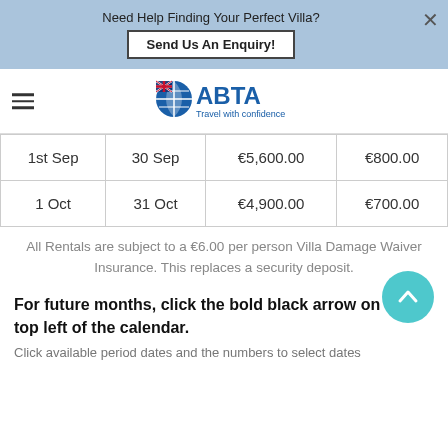Need Help Finding Your Perfect Villa? Send Us An Enquiry!
[Figure (logo): ABTA Travel with confidence logo]
| 1st Sep | 30 Sep | €5,600.00 | €800.00 |
| 1 Oct | 31 Oct | €4,900.00 | €700.00 |
All Rentals are subject to a €6.00 per person Villa Damage Waiver Insurance. This replaces a security deposit.
For future months, click the bold black arrow on the top left of the calendar.
Click available period dates and the numbers to select dates